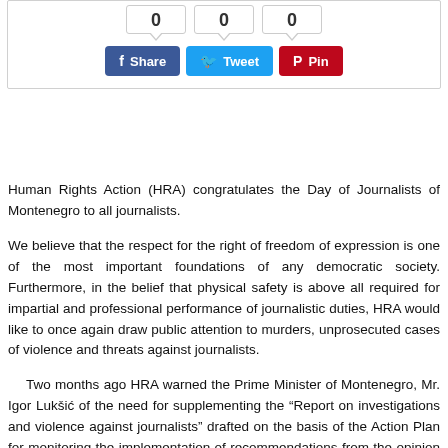[Figure (screenshot): Social share widget showing three count boxes each displaying 0, and three buttons: Share (Facebook, blue), Tweet (Twitter, light blue), Pin (Pinterest, red)]
Human Rights Action (HRA) congratulates the Day of Journalists of Montenegro to all journalists.
We believe that the respect for the right of freedom of expression is one of the most important foundations of any democratic society. Furthermore, in the belief that physical safety is above all required for impartial and professional performance of journalistic duties, HRA would like to once again draw public attention to murders, unprosecuted cases of violence and threats against journalists.
Two months ago HRA warned the Prime Minister of Montenegro, Mr. Igor Lukšić of the need for supplementing the “Report on investigations and violence against journalists” drafted on the basis of the Action Plan for monitoring the implementation of recommendations from the opinion of the European Commission.[1] The Prime Minister was also reminded of the HRA proposal for introduction of